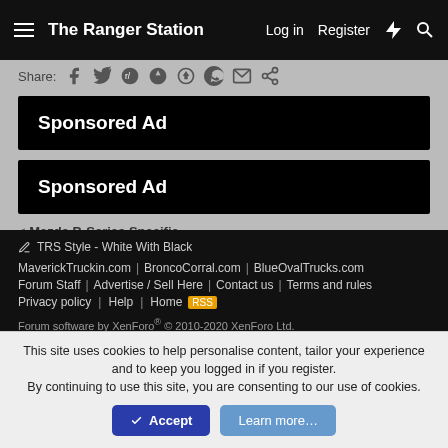The Ranger Station | Log in | Register
Share:
[Figure (screenshot): Sponsored Ad black banner 1]
[Figure (screenshot): Sponsored Ad black banner 2]
< Mazda B-Series Specific
TRS Style - White With Black | MaverickTruckin.com | BroncoCorral.com | BlueOvalTrucks.com | Forum Staff | Advertise / Sell Here | Contact us | Terms and rules | Privacy policy | Help | Home | Forum software by XenForo® © 2010-2020 XenForo Ltd.
This site uses cookies to help personalise content, tailor your experience and to keep you logged in if you register.
By continuing to use this site, you are consenting to our use of cookies.